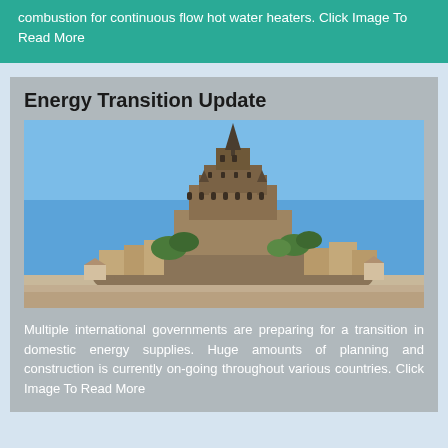combustion for continuous flow hot water heaters. Click Image To Read More
Energy Transition Update
[Figure (photo): Photograph of Mont Saint-Michel, a medieval monastery and island commune in Normandy, France, set against a blue sky with green vegetation around the base.]
Multiple international governments are preparing for a transition in domestic energy supplies. Huge amounts of planning and construction is currently on-going throughout various countries. Click Image To Read More